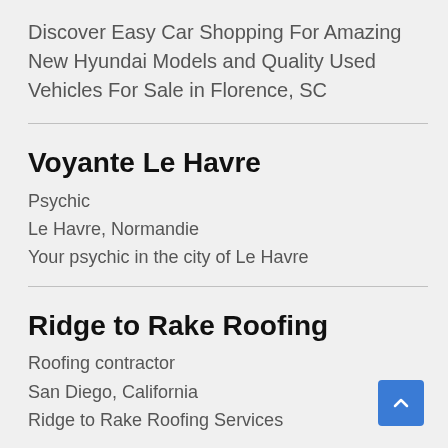Discover Easy Car Shopping For Amazing New Hyundai Models and Quality Used Vehicles For Sale in Florence, SC
Voyante Le Havre
Psychic
Le Havre, Normandie
Your psychic in the city of Le Havre
Ridge to Rake Roofing
Roofing contractor
San Diego, California
Ridge to Rake Roofing Services